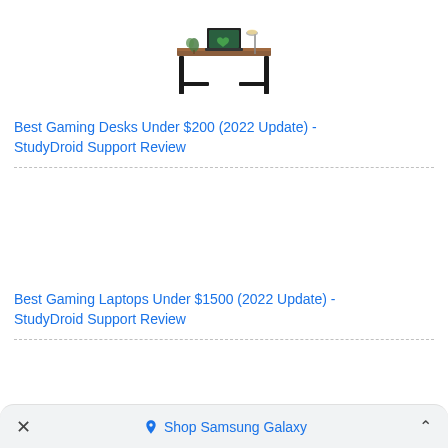[Figure (photo): A brown wooden desk with black metal frame legs, a laptop, a small plant, and a lamp on top.]
Best Gaming Desks Under $200 (2022 Update) - StudyDroid Support Review
Best Gaming Laptops Under $1500 (2022 Update) - StudyDroid Support Review
Shop Samsung Galaxy